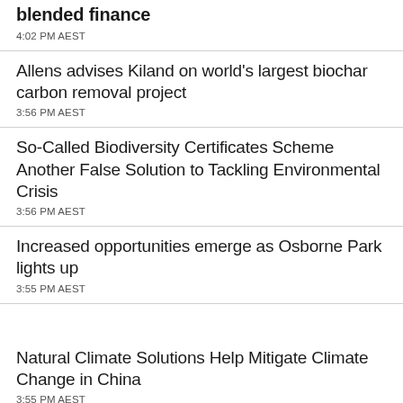blended finance
4:02 PM AEST
Allens advises Kiland on world's largest biochar carbon removal project
3:56 PM AEST
So-Called Biodiversity Certificates Scheme Another False Solution to Tackling Environmental Crisis
3:56 PM AEST
Increased opportunities emerge as Osborne Park lights up
3:55 PM AEST
Natural Climate Solutions Help Mitigate Climate Change in China
3:55 PM AEST
Researchers Develop New Slippery